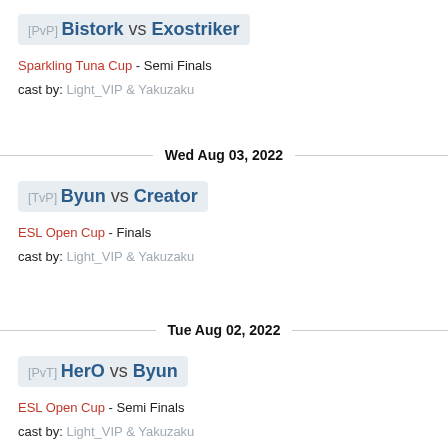[PvP] Bistork vs Exostriker
Sparkling Tuna Cup - Semi Finals
cast by: Light_VIP & Yakuzaku
Wed Aug 03, 2022
[TvP] Byun vs Creator
ESL Open Cup - Finals
cast by: Light_VIP & Yakuzaku
Tue Aug 02, 2022
[PvT] HerO vs Byun
ESL Open Cup - Semi Finals
cast by: Light_VIP & Yakuzaku